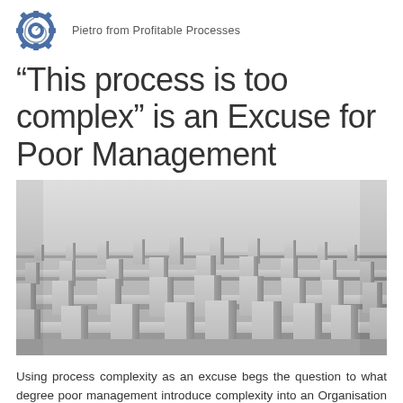Pietro from Profitable Processes
“This process is too complex” is an Excuse for Poor Management
[Figure (photo): Aerial view of a complex white/grey 3D maze, perspective shot from above and slightly angled]
Using process complexity as an excuse begs the question to what degree poor management introduce complexity into an Organisation due to poor knowledge of the business.